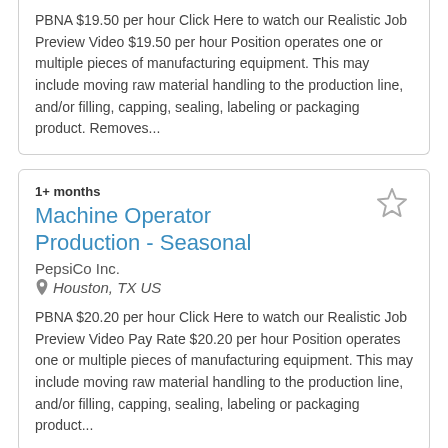PBNA $19.50 per hour Click Here to watch our Realistic Job Preview Video $19.50 per hour Position operates one or multiple pieces of manufacturing equipment. This may include moving raw material handling to the production line, and/or filling, capping, sealing, labeling or packaging product. Removes...
1+ months
Machine Operator Production - Seasonal
PepsiCo Inc.
Houston, TX US
PBNA $20.20 per hour Click Here to watch our Realistic Job Preview Video Pay Rate $20.20 per hour Position operates one or multiple pieces of manufacturing equipment. This may include moving raw material handling to the production line, and/or filling, capping, sealing, labeling or packaging product...
< Previous  1  Next >